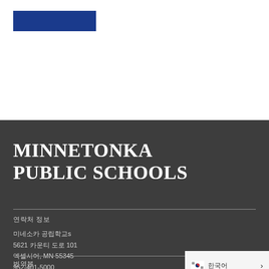[Figure (logo): Blue rectangular bar logo for Minnetonka Public Schools]
MINNETONKA PUBLIC SCHOOLS
연락처 정보
미네소카 공립학교s
5621 카운티 도로 101
엑셀시어, MN 55345
952-401-5000
번역본